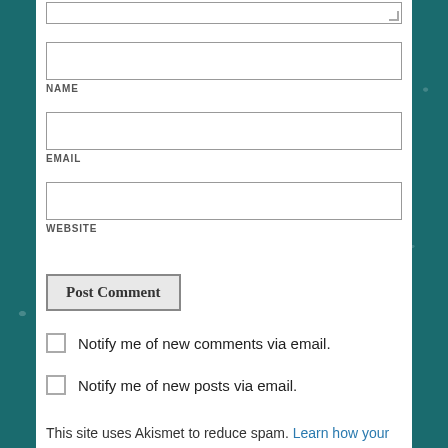[textarea top stub]
NAME
EMAIL
WEBSITE
Post Comment
Notify me of new comments via email.
Notify me of new posts via email.
This site uses Akismet to reduce spam. Learn how your comment data is processed.